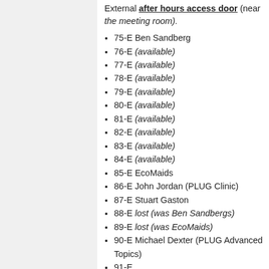External after hours access door (near the meeting room).
75-E Ben Sandberg
76-E (available)
77-E (available)
78-E (available)
79-E (available)
80-E (available)
81-E (available)
82-E (available)
83-E (available)
84-E (available)
85-E EcoMaids
86-E John Jordan (PLUG Clinic)
87-E Stuart Gaston
88-E lost (was Ben Sandbergs)
89-E lost (was EcoMaids)
90-E Michael Dexter (PLUG Advanced Topics)
91-E ...